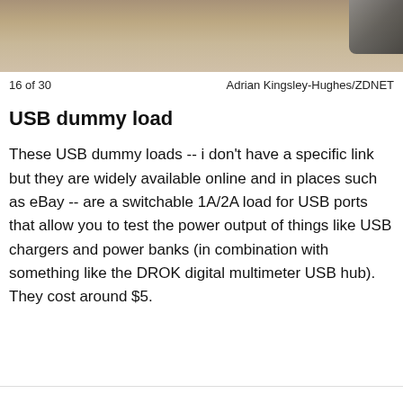[Figure (photo): Photo of a USB dummy load device on a wooden surface, top portion visible]
16 of 30	Adrian Kingsley-Hughes/ZDNET
USB dummy load
These USB dummy loads -- i don't have a specific link but they are widely available online and in places such as eBay -- are a switchable 1A/2A load for USB ports that allow you to test the power output of things like USB chargers and power banks (in combination with something like the DROK digital multimeter USB hub). They cost around $5.